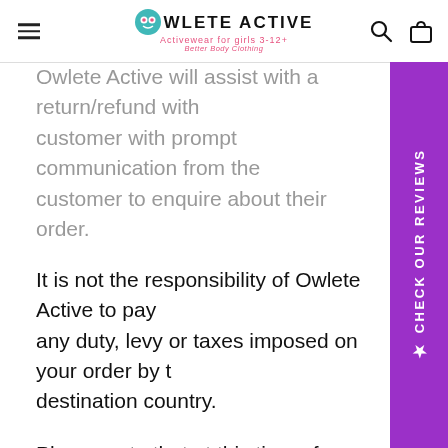Owlete Active — Activewear for girls 3-12
Owlete Active will assist with a return/refund with customer with prompt communication from the customer to enquire about their order.
It is not the responsibility of Owlete Active to pay any duty, levy or taxes imposed on your order by the destination country.
Please note that at this time of Covid19 there are significant delays within the postal service and this is outside of the control of Owlete Active. If you parcel is not delivered within the expected timeframe, Owlete Active will take all efforts to locate and provide tracking for your order. But are in no way
[Figure (other): Purple vertical sidebar with star icon and text CHECK OUR REVIEWS]